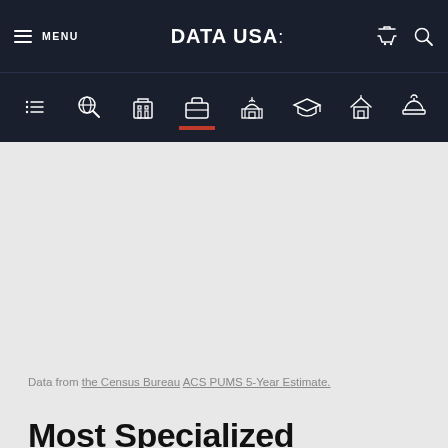MENU | DATA USA: | [cart] [search]
[Figure (screenshot): Navigation icon bar with 8 icons: list/filter, globe search, briefcase/building, briefcase (active), capitol building, graduation cap, house, hard hat]
Data from the Census Bureau ACS PUMS 5-Year Estimate.
Most Specialized